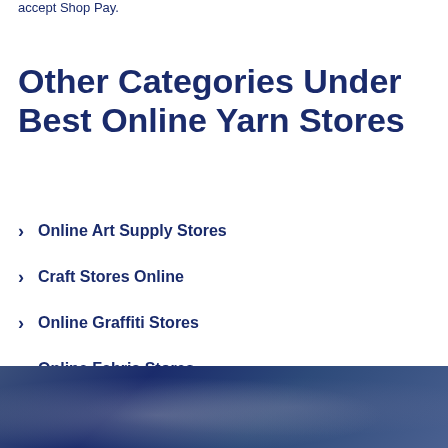accept Shop Pay.
Other Categories Under Best Online Yarn Stores
Online Art Supply Stores
Craft Stores Online
Online Graffiti Stores
Online Fabric Stores
[Figure (photo): Dark blue toned background photo of a person in a store, partially visible at the bottom of the page.]